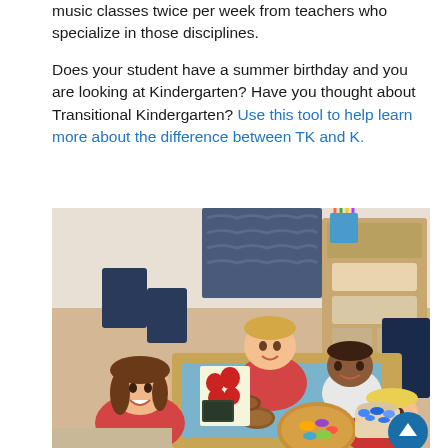music classes twice per week from teachers who specialize in those disciplines.

Does your student have a summer birthday and you are looking at Kindergarten?  Have you thought about Transitional Kindergarten?  Use this tool to help learn more about the difference between TK and K.
[Figure (photo): Classroom photo showing four young children sitting around a wooden table with educational manipulatives including bowls, colorful pieces, and baskets. Children are wearing red polo shirts and smiling at the camera. A supply cart with pencils and storage bins is visible in the background.]